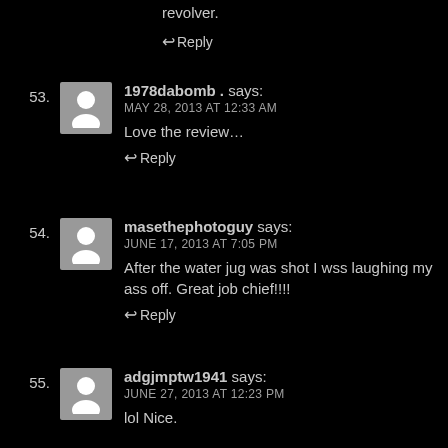revolver.
↩Reply
53. 1978dabomb . says: MAY 28, 2013 AT 12:33 AM
Love the review…
↩Reply
54. masethephotoguy says: JUNE 17, 2013 AT 7:05 PM
After the water jug was shot I wss laughing my ass off. Great job chief!!!!
↩Reply
55. adgjmptw1941 says: JUNE 27, 2013 AT 12:23 PM
lol Nice.